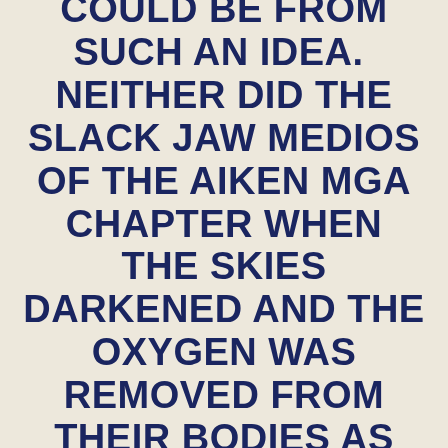WHAT THE FALLOUT COULD BE FROM SUCH AN IDEA.  NEITHER DID THE SLACK JAW MEDIOS OF THE AIKEN MGA CHAPTER WHEN THE SKIES DARKENED AND THE OXYGEN WAS REMOVED FROM THEIR BODIES AS AN